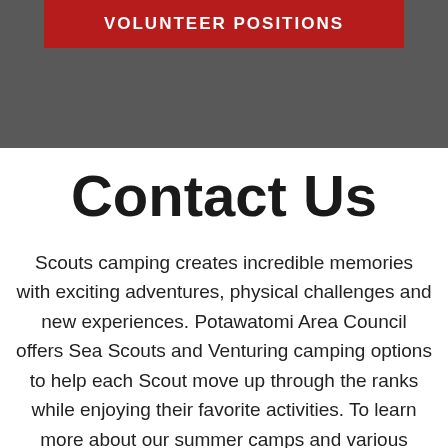VOLUNTEER POSITIONS
Contact Us
Scouts camping creates incredible memories with exciting adventures, physical challenges and new experiences. Potawatomi Area Council offers Sea Scouts and Venturing camping options to help each Scout move up through the ranks while enjoying their favorite activities. To learn more about our summer camps and various camping